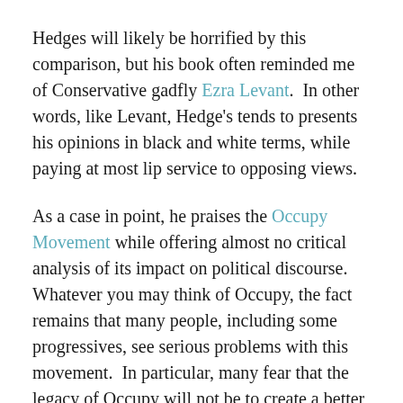Hedges will likely be horrified by this comparison, but his book often reminded me of Conservative gadfly Ezra Levant.  In other words, like Levant, Hedge's tends to presents his opinions in black and white terms, while paying at most lip service to opposing views.
As a case in point, he praises the Occupy Movement while offering almost no critical analysis of its impact on political discourse.  Whatever you may think of Occupy, the fact remains that many people, including some progressives, see serious problems with this movement.  In particular, many fear that the legacy of Occupy will not be to create a better society, but rather to lead large groups of young people to drop out of the political process, and as a consequence hand Conservative parties electoral victories and power by default.  You may agree or disagree with this analysis, but at least